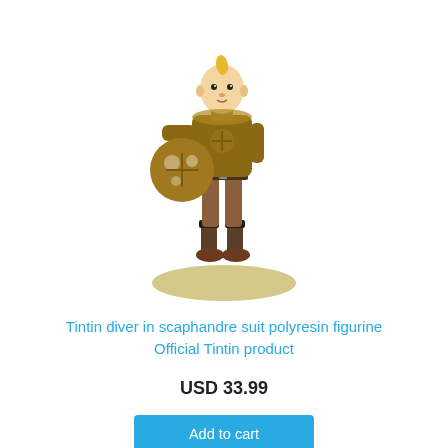[Figure (illustration): Polyresin figurine of Tintin wearing a bronze/golden diving scaphandre suit, holding the round diving helmet under his left arm. The character has his signature blonde quiff hair. The figure stands on a beige oval base.]
Tintin diver in scaphandre suit polyresin figurine Official Tintin product
USD 33.99
Add to cart